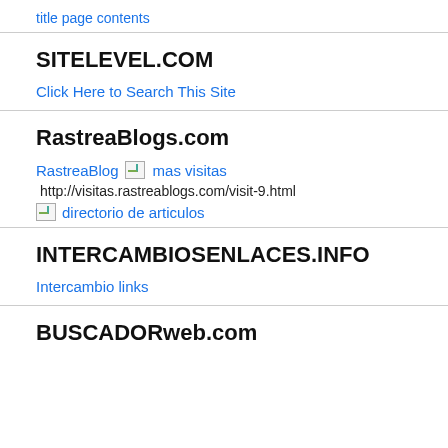title page contents
SITELEVEL.COM
Click Here to Search This Site
RastreaBlog.com
RastreaBlog [image: mas visitas] http://visitas.rastreablogs.com/visit-9.html [image: directorio de articulos]
INTERCAMBIOSENLACES.INFO
Intercambio links
BUSCADORweb.com